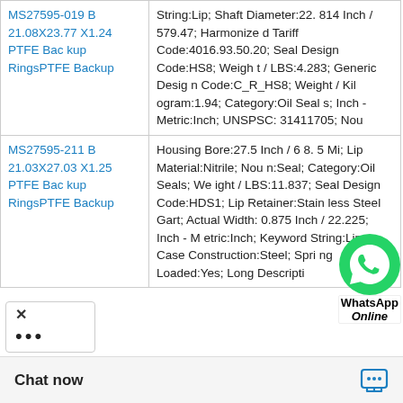| Part Number | Description |
| --- | --- |
| MS27595-019 B 21.08X23.77 X1.24 PTFE Backup RingsPTFE Backup | String:Lip; Shaft Diameter:22.814 Inch / 579.47; Harmonized Tariff Code:4016.93.50.20; Seal Design Code:HS8; Weight / LBS:4.283; Generic Design Code:C_R_HS8; Weight / Kilogram:1.94; Category:Oil Seals; Inch - Metric:Inch; UNSPSC:31411705; Nou |
| MS27595-211 B 21.03X27.03 X1.25 PTFE Backup RingsPTFE Backup | Housing Bore:27.5 Inch / 698.5 Mi; Lip Material:Nitrile; Noun:Seal; Category:Oil Seals; Weight / LBS:11.837; Seal Design Code:HDS1; Lip Retainer:Stainless Steel Gart; Actual Width:0.875 Inch / 22.225; Inch - Metric:Inch; Keyword String:Lip; Case Construction:Steel; Spring Loaded:Yes; Long Descripti |
[Figure (logo): WhatsApp green phone icon with WhatsApp Online label overlay]
Chat now